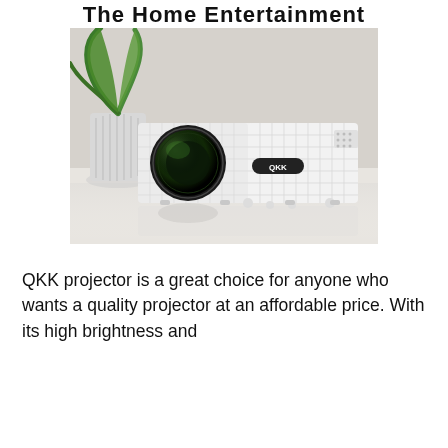The Home Entertainment
[Figure (photo): White QKK mini projector sitting on a white surface, with a white textured vase and green plant in the background. The projector has a large black circular lens on the left side and a QKK label badge in the center front.]
QKK projector is a great choice for anyone who wants a quality projector at an affordable price. With its high brightness and